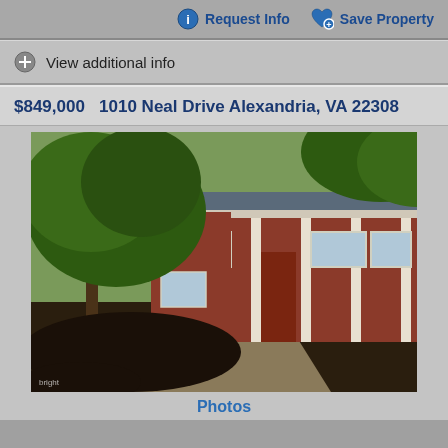Request Info
Save Property
View additional info
$849,000   1010 Neal Drive Alexandria, VA 22308
[Figure (photo): Exterior photo of a brick ranch-style home at 1010 Neal Drive Alexandria VA 22308, with large trees in the foreground and a covered front porch with white columns]
Photos